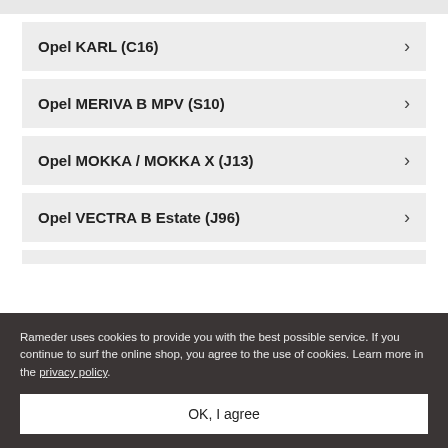Opel KARL (C16)
Opel MERIVA B MPV (S10)
Opel MOKKA / MOKKA X (J13)
Opel VECTRA B Estate (J96)
Rameder uses cookies to provide you with the best possible service. If you continue to surf the online shop, you agree to the use of cookies. Learn more in the privacy policy.
OK, I agree